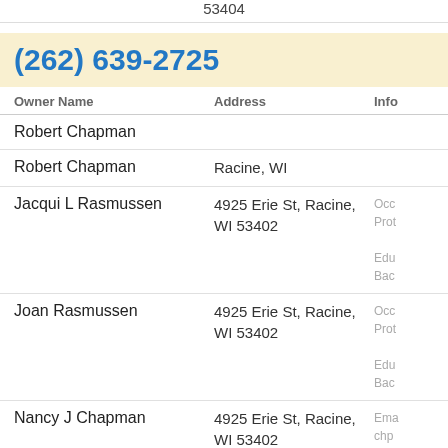53404
(262) 639-2725
| Owner Name | Address | Info |
| --- | --- | --- |
| Robert Chapman |  |  |
| Robert Chapman | Racine, WI |  |
| Jacqui L Rasmussen | 4925 Erie St, Racine, WI 53402 | Occ Prot
Edu Bac |
| Joan Rasmussen | 4925 Erie St, Racine, WI 53402 | Occ Prot
Edu Bac |
| Nancy J Chapman | 4925 Erie St, Racine, WI 53402 | Ema chp
Occ Adm
Edu Ass |